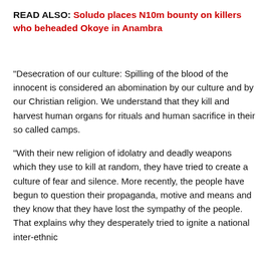READ ALSO: Soludo places N10m bounty on killers who beheaded Okoye in Anambra
“Desecration of our culture: Spilling of the blood of the innocent is considered an abomination by our culture and by our Christian religion. We understand that they kill and harvest human organs for rituals and human sacrifice in their so called camps.
“With their new religion of idolatry and deadly weapons which they use to kill at random, they have tried to create a culture of fear and silence. More recently, the people have begun to question their propaganda, motive and means and they know that they have lost the sympathy of the people. That explains why they desperately tried to ignite a national inter-ethnic